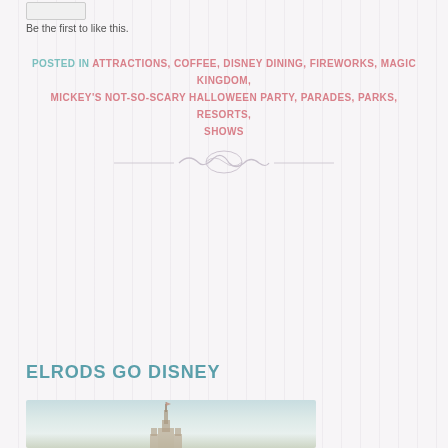Be the first to like this.
POSTED IN ATTRACTIONS, COFFEE, DISNEY DINING, FIREWORKS, MAGIC KINGDOM, MICKEY'S NOT-SO-SCARY HALLOWEEN PARTY, PARADES, PARKS, RESORTS, SHOWS
[Figure (illustration): Decorative ornamental divider line with swirl embellishment in light gray]
ELRODS GO DISNEY
[Figure (photo): Faded vintage-style photo of a Disney castle/Magic Kingdom tower against a pale sky]